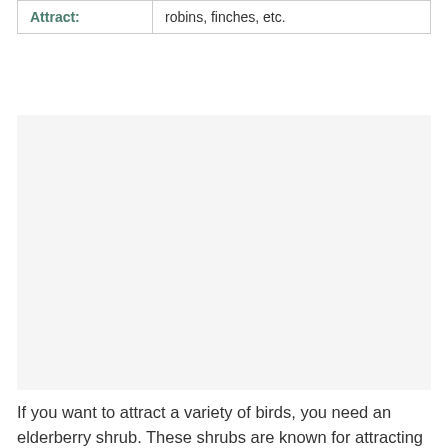|  |  |
| --- | --- |
| Attract: | robins, finches, etc. |
[Figure (photo): A faded/washed out image placeholder with light gray background, possibly showing a plant or shrub (very low contrast, nearly blank)]
If you want to attract a variety of birds, you need an elderberry shrub. These shrubs are known for attracting